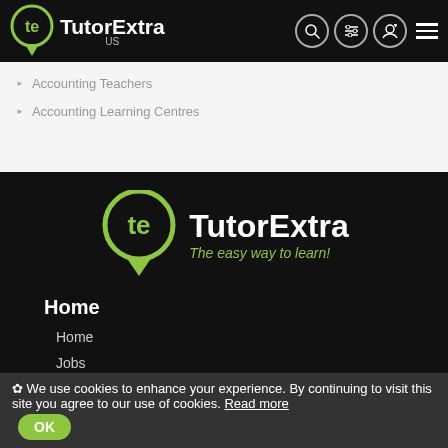[Figure (logo): TutorExtra US logo in header bar, green circle with te letters, white text TutorExtra, US subtitle]
Accounting Teachers
Accounting Learning Centres
[Figure (logo): TutorExtra logo on black background, green circle with te, white bold TutorExtra text, green italic subtitle The easy way to learn!]
Home
Home
Jobs
Articles
How it works
✿ We use cookies to enhance your experience. By continuing to visit this site you agree to our use of cookies. Read more OK